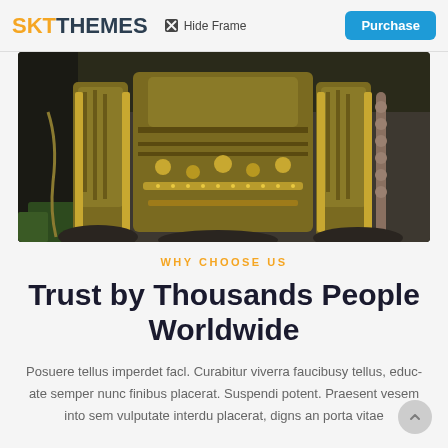SKT THEMES  ☒ Hide Frame  Purchase
[Figure (photo): Bronze or golden statues/sculptures of figures in robes, photographed up close against a stone wall background]
WHY CHOOSE US
Trust by Thousands People Worldwide
Posuere tellus imperdet facl. Curabitur viverra faucibusy tellus, educ-ate semper nunc finibus placerat. Suspendi potent. Praesent vesem into sem vulputate interdu placerat, digns an porta vitae